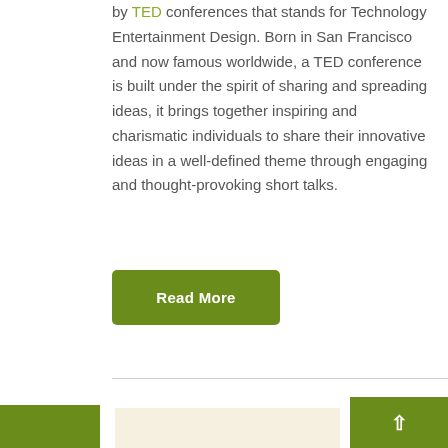by TED conferences that stands for Technology Entertainment Design. Born in San Francisco and now famous worldwide, a TED conference is built under the spirit of sharing and spreading ideas, it brings together inspiring and charismatic individuals to share their innovative ideas in a well-defined theme through engaging and thought-provoking short talks.
Read More
[Figure (screenshot): Bottom section with navigation elements: a green button on the left, a beige/cream colored box in the center, and a green scroll-to-top button with up arrow on the right]